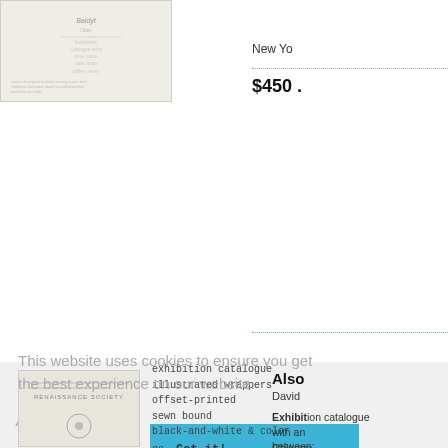[Figure (photo): Thumbnail image of a document/publication cover with handwritten-style text, top left]
New Yo...
$450 .
This website uses cookies to ensure you get the best experience on our website.
[Figure (photo): Thumbnail of Renaissance Society exhibition catalogue cover, bottom left]
exhibition catalogue
illustrated wrappers
offset-printed
sewn bound
black-and-white & color
28 x 10 cm.
80 pp.
edition size unknown
unsigned and unnumbered
Also
on
View
David
Exhibition catalogue with an... between...
Chicago